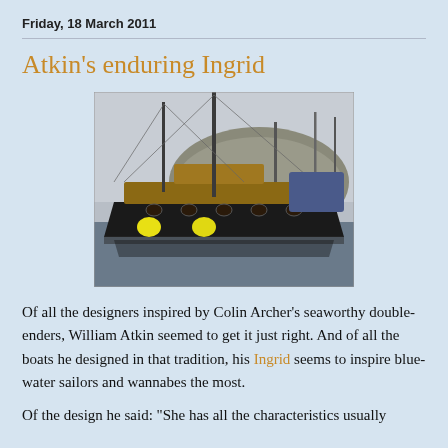Friday, 18 March 2011
Atkin's enduring Ingrid
[Figure (photo): A dark-hulled sailboat (double-ender) moored at a marina with yellow fenders, wooden deck and cabin, masts with rigging, other boats and a rocky hill visible in the background.]
Of all the designers inspired by Colin Archer's seaworthy double-enders, William Atkin seemed to get it just right. And of all the boats he designed in that tradition, his Ingrid seems to inspire blue-water sailors and wannabes the most.
Of the design he said: "She has all the characteristics usually